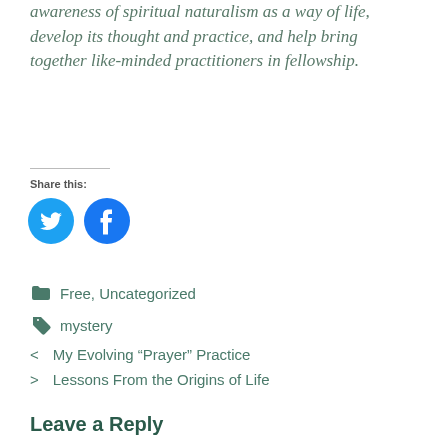awareness of spiritual naturalism as a way of life, develop its thought and practice, and help bring together like-minded practitioners in fellowship.
Share this:
[Figure (other): Twitter and Facebook social sharing buttons (circular blue icons)]
Free, Uncategorized
mystery
My Evolving “Prayer” Practice
Lessons From the Origins of Life
Leave a Reply